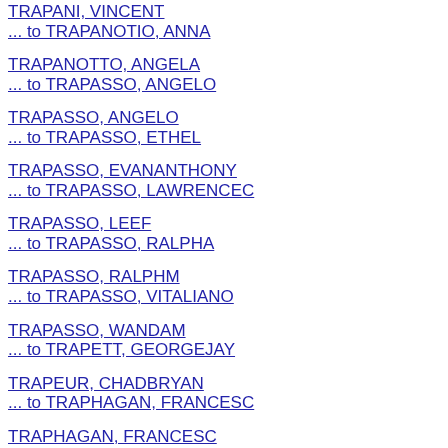TRAPANI, VINCENT
... to TRAPANOTIO, ANNA
TRAPANOTTO, ANGELA
... to TRAPASSO, ANGELO
TRAPASSO, ANGELO
... to TRAPASSO, ETHEL
TRAPASSO, EVANANTHONY
... to TRAPASSO, LAWRENCEC
TRAPASSO, LEEF
... to TRAPASSO, RALPHA
TRAPASSO, RALPHM
... to TRAPASSO, VITALIANO
TRAPASSO, WANDAM
... to TRAPETT, GEORGEJAY
TRAPEUR, CHADBRYAN
... to TRAPHAGAN, FRANCESC
TRAPHAGAN, FRANCESC
... to TRAPHAGAN, THOMASM